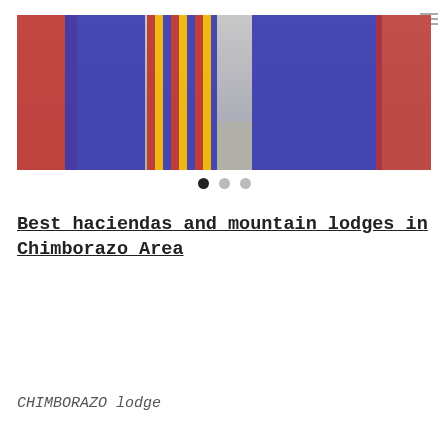MENU ≡
[Figure (photo): People wearing colorful traditional indigenous clothing (blue and red ponchos/shawls) walking on cobblestone plaza, visible from waist down]
[Figure (infographic): Carousel navigation dots: three circles, first filled black (active), two grey (inactive)]
Best haciendas and mountain lodges in Chimborazo Area
CHIMBORAZO lodge